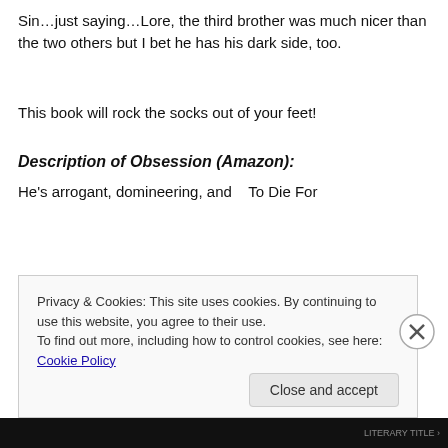Sin…just saying…Lore, the third brother was much nicer than the two others but I bet he has his dark side, too.
This book will rock the socks out of your feet!
Description of Obsession (Amazon):
He's arrogant, domineering, and   To Die For
Privacy & Cookies: This site uses cookies. By continuing to use this website, you agree to their use.
To find out more, including how to control cookies, see here: Cookie Policy
Close and accept